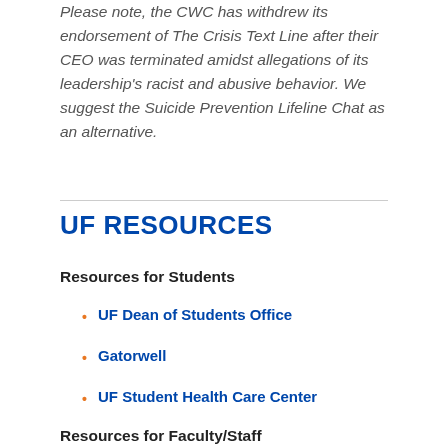Please note, the CWC has withdrew its endorsement of The Crisis Text Line after their CEO was terminated amidst allegations of its leadership's racist and abusive behavior. We suggest the Suicide Prevention Lifeline Chat as an alternative.
UF RESOURCES
Resources for Students
UF Dean of Students Office
Gatorwell
UF Student Health Care Center
Resources for Faculty/Staff